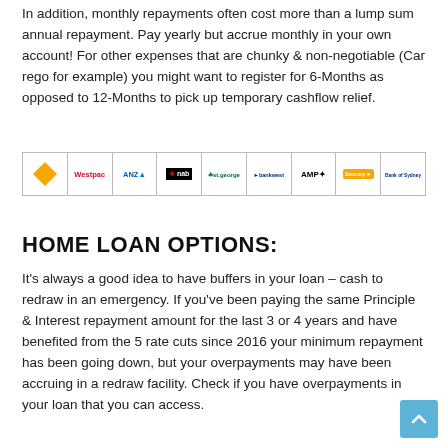In addition, monthly repayments often cost more than a lump sum annual repayment. Pay yearly but accrue monthly in your own account! For other expenses that are chunky & non-negotiable (Car rego for example) you might want to register for 6-Months as opposed to 12-Months to pick up temporary cashflow relief.
[Figure (other): Row of bank logos: Commonwealth Bank (diamond logo), Westpac, ANZ, NAB (black background with star), St George, Bankwest, AMP, Suncorp (orange background), Bank of Sydney]
HOME LOAN OPTIONS:
It's always a good idea to have buffers in your loan – cash to redraw in an emergency. If you've been paying the same Principle & Interest repayment amount for the last 3 or 4 years and have benefited from the 5 rate cuts since 2016 your minimum repayment has been going down, but your overpayments may have been accruing in a redraw facility. Check if you have overpayments in your loan that you can access.